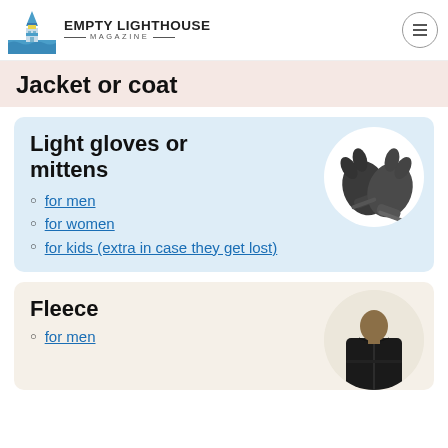Empty Lighthouse Magazine
Jacket or coat
Light gloves or mittens
for men
for women
for kids (extra in case they get lost)
[Figure (photo): Dark grey knit gloves crossed over each other]
Fleece
for men
[Figure (photo): Man wearing black Columbia fleece zip jacket]